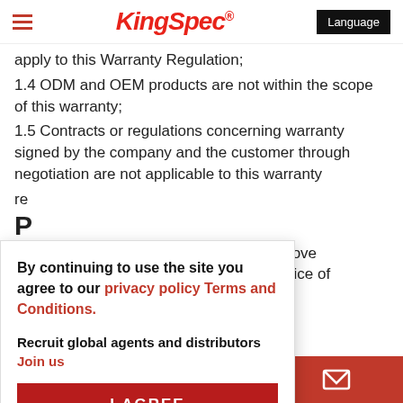KingSpec® Language
apply to this Warranty Regulation;
1.4 ODM and OEM products are not within the scope of this warranty;
1.5 Contracts or regulations concerning warranty signed by the company and the customer through negotiation are not applicable to this warranty re...
P
In... ers and improve c... ter-sales service of th...
By continuing to use the site you agree to our privacy policy Terms and Conditions.
Recruit global agents and distributors Join us
I AGREE